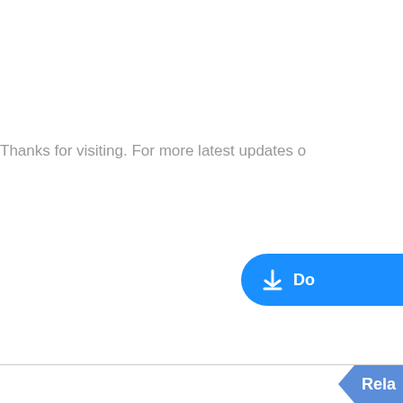Thanks for visiting. For more latest updates o…
[Figure (other): Blue rounded download button with download icon and 'Do…' text, partially cropped on right edge]
[Figure (other): Blue 'Rela…' related button partially visible in bottom right corner]